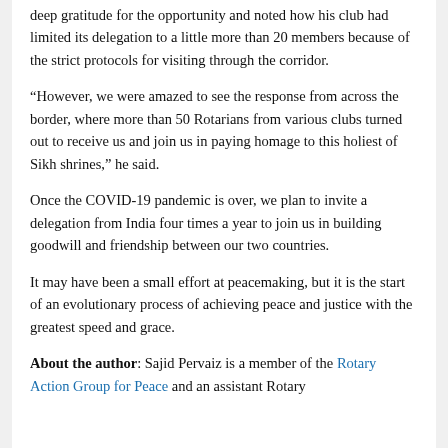deep gratitude for the opportunity and noted how his club had limited its delegation to a little more than 20 members because of the strict protocols for visiting through the corridor.
“However, we were amazed to see the response from across the border, where more than 50 Rotarians from various clubs turned out to receive us and join us in paying homage to this holiest of Sikh shrines,” he said.
Once the COVID-19 pandemic is over, we plan to invite a delegation from India four times a year to join us in building goodwill and friendship between our two countries.
It may have been a small effort at peacemaking, but it is the start of an evolutionary process of achieving peace and justice with the greatest speed and grace.
About the author: Sajid Pervaiz is a member of the Rotary Action Group for Peace and an assistant Rotary Public Image Coordinator. He served as...